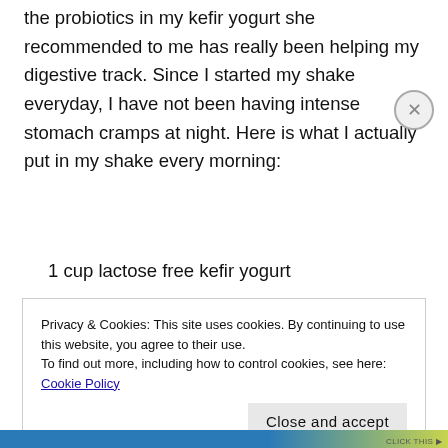the probiotics in my kefir yogurt she recommended to me has really been helping my digestive track. Since I started my shake everyday, I have not been having intense stomach cramps at night. Here is what I actually put in my shake every morning:
1 cup lactose free kefir yogurt
Privacy & Cookies: This site uses cookies. By continuing to use this website, you agree to their use.
To find out more, including how to control cookies, see here: Cookie Policy